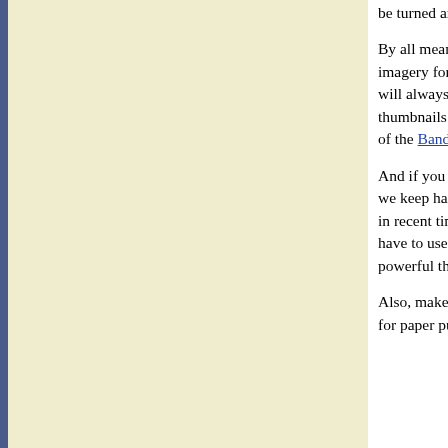be turned around to "one word is worth a thousand images"!
By all means use graphics - especially icons, and small 'image maps'. Save the full screen imagery for the painting you want to sell or the movie for the week-end. A good business site will always warn people about the size of large image pages, and often offer small thumbnails before the complete picture. For some tips on reducing image size visit the pages of the Bandwidth Conservation Society.
And if you really want to be boring, put a photo of your president on the home page! Sorry, we keep harping on about this, but this is one of the main causes of deterioration of the Web in recent times, Just because it is now easier to add sound and damage, does not mean you have to use it. Graphic designers will tell you that on paper, white space can be more powerful than text. So be sparing with your images.
Also, make effective use of the medium. Writing Web pages is quite different from writing for paper publication or for printed advertising. Creating "Web friendly"